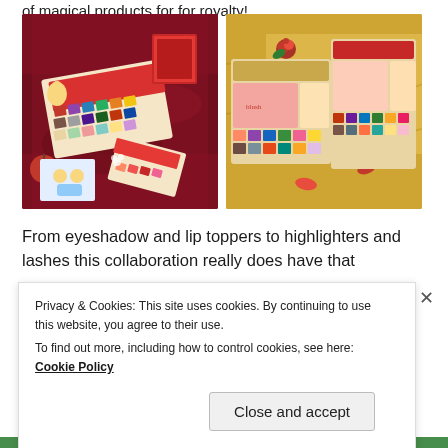of magical products for for royalty!
[Figure (photo): Two photos side by side of makeup palette products - eyeshadow and lip palettes arranged on red/maroon silk fabric with flowers and props; second photo shows similar products on gold satin fabric with rose petals]
From eyeshadow and lip toppers to highlighters and lashes this collaboration really does have that
Privacy & Cookies: This site uses cookies. By continuing to use this website, you agree to their use.
To find out more, including how to control cookies, see here: Cookie Policy
Close and accept